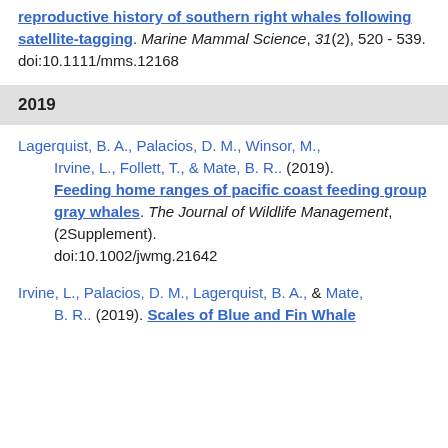reproductive history of southern right whales following satellite-tagging. Marine Mammal Science, 31(2), 520 - 539. doi:10.1111/mms.12168
2019
Lagerquist, B. A., Palacios, D. M., Winsor, M., Irvine, L., Follett, T., & Mate, B. R.. (2019). Feeding home ranges of pacific coast feeding group gray whales. The Journal of Wildlife Management, (2Supplement). doi:10.1002/jwmg.21642
Irvine, L., Palacios, D. M., Lagerquist, B. A., & Mate, B. R.. (2019). Scales of Blue and Fin Whale